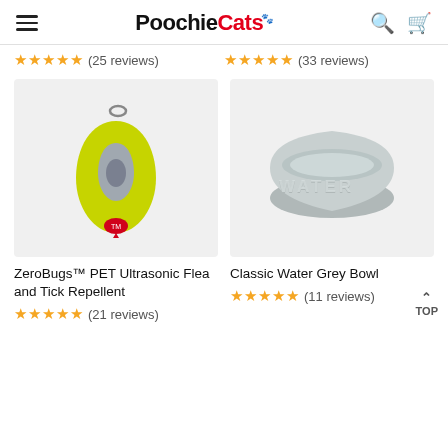PoochieCats
★★★★★ (25 reviews)
★★★★★ (33 reviews)
[Figure (photo): ZeroBugs PET Ultrasonic Flea and Tick Repellent product - a yellow-green teardrop shaped device with a grey window and red button with clip]
[Figure (photo): Classic Water Grey Bowl - a round grey ceramic pet water bowl with WATER text embossed]
ZeroBugs™ PET Ultrasonic Flea and Tick Repellent
Classic Water Grey Bowl
★★★★★ (21 reviews)
★★★★★ (11 reviews)